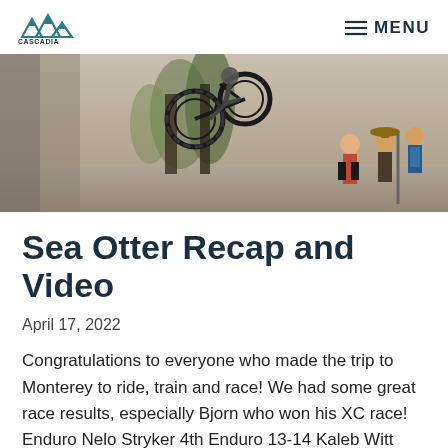CASCADIA JUNIOR CYCLING — MENU
[Figure (photo): A mountain biker in mid-air jump on a dirt trail, with spectators and trees in the background.]
Sea Otter Recap and Video
April 17, 2022
Congratulations to everyone who made the trip to Monterey to ride, train and race! We had some great race results, especially Bjorn who won his XC race! Enduro Nelo Stryker 4th Enduro 13-14 Kaleb Witt